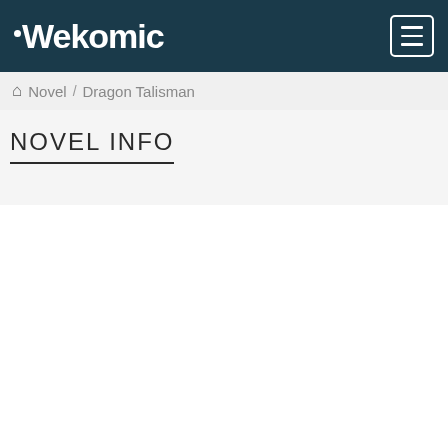Wekomic
Novel / Dragon Talisman
NOVEL INFO
[Figure (illustration): Partial view of a circular book cover illustration with cyan/turquoise colors showing a dragon or talisman motif against a white background]